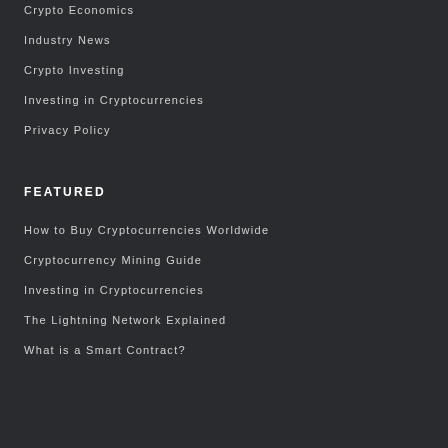Crypto Economics
Industry News
Crypto Investing
Investing in Cryptocurrencies
Privacy Policy
FEATURED
How to Buy Cryptocurrencies Worldwide
Cryptocurrency Mining Guide
Investing in Cryptocurrencies
The Lightning Network Explained
What is a Smart Contract?